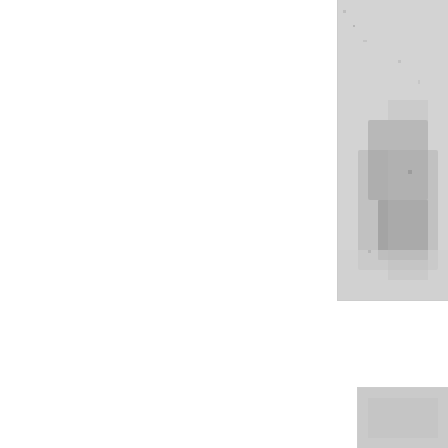[Figure (photo): A partial photograph visible on the right side of the page, cropped. Shows a grayscale/black and white image, partially cut off at the right edge. The image appears to show some kind of object or scene, details obscured by cropping.]
2. String yo and then a more than
[Figure (photo): A small partial photograph visible at the bottom right corner of the page, mostly cropped out of view.]